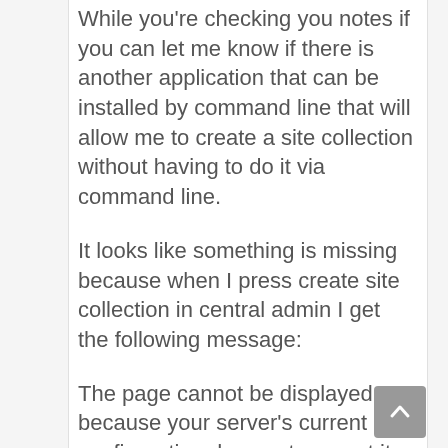While you're checking you notes if you can let me know if there is another application that can be installed by command line that will allow me to create a site collection without having to do it via command line.
It looks like something is missing because when I press create site collection in central admin I get the following message:
The page cannot be displayed because your server's current configuration does not support it. To perform this task, use the command line operations in Stsadm.exe